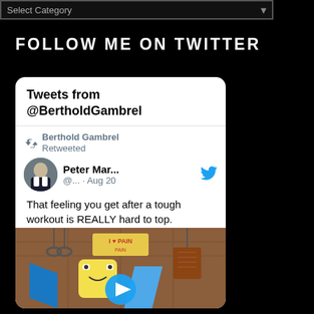[Figure (screenshot): Select Category dropdown bar at top of page]
FOLLOW ME ON TWITTER
[Figure (screenshot): Twitter widget card showing Tweets from @BertholdGambrel. Contains a retweet by Berthold Gambrel from Peter Mar... (@... · Aug 20) with text: That feeling you get after a tough workout is REALLY hard to top. Below the tweet text is a video thumbnail showing a cartoon gym scene with a play button and text 'I LOVE PAIN'.]